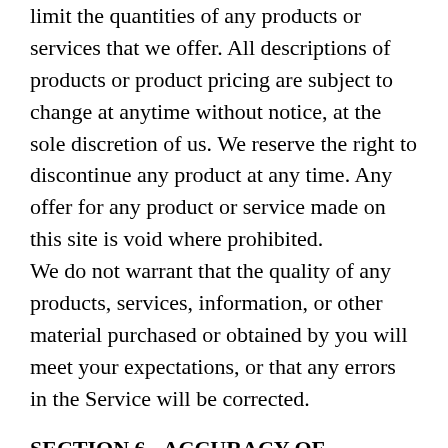limit the quantities of any products or services that we offer. All descriptions of products or product pricing are subject to change at anytime without notice, at the sole discretion of us. We reserve the right to discontinue any product at any time. Any offer for any product or service made on this site is void where prohibited.
We do not warrant that the quality of any products, services, information, or other material purchased or obtained by you will meet your expectations, or that any errors in the Service will be corrected.
SECTION 6 - ACCURACY OF BILLING AND ACCOUNT INFORMATION
We reserve the right to refuse any order you place with us. We may, in our sole discretion, limit or cancel